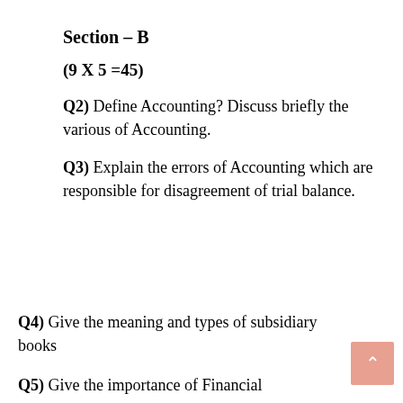Section – B
(9 X 5 =45)
Q2) Define Accounting? Discuss briefly the various of Accounting.
Q3) Explain the errors of Accounting which are responsible for disagreement of trial balance.
Q4) Give the meaning and types of subsidiary books
Q5) Give the importance of Financial